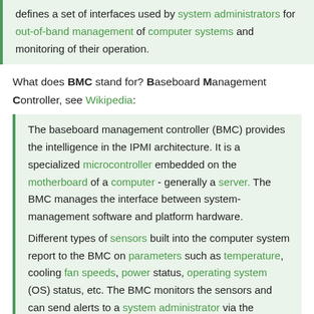defines a set of interfaces used by system administrators for out-of-band management of computer systems and monitoring of their operation.
What does BMC stand for? Baseboard Management Controller, see Wikipedia:
The baseboard management controller (BMC) provides the intelligence in the IPMI architecture. It is a specialized microcontroller embedded on the motherboard of a computer - generally a server. The BMC manages the interface between system-management software and platform hardware. Different types of sensors built into the computer system report to the BMC on parameters such as temperature, cooling fan speeds, power status, operating system (OS) status, etc. The BMC monitors the sensors and can send alerts to a system administrator via the network if any of the parameters do not stay within pre-set limits, indicating a potential failure of the system.